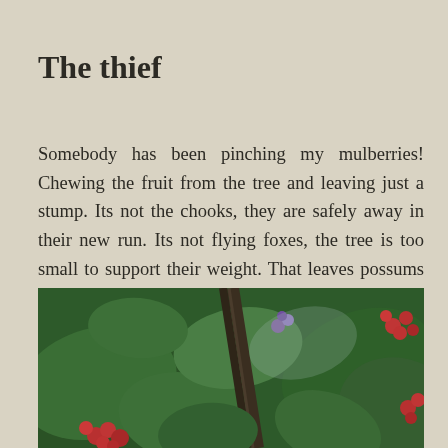The thief
Somebody has been pinching my mulberries! Chewing the fruit from the tree and leaving just a stump. Its not the chooks, they are safely away in their new run. Its not flying foxes, the tree is too small to support their weight. That leaves possums and rodents as the most likely suspects. And no mulberries for me until I figure out who it is and how to protect them…
[Figure (photo): Close-up photograph of mulberry tree branches with green leaves and red/pink mulberry fruits, with some purple flowers visible in the background. A dark branch runs diagonally through the center of the image.]